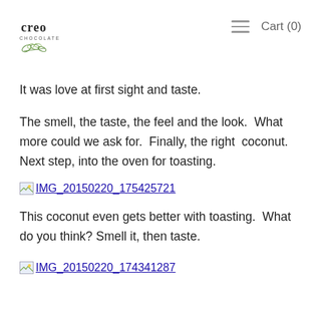Creo Chocolate — Cart (0)
It was love at first sight and taste.
The smell, the taste, the feel and the look.  What more could we ask for.  Finally, the right  coconut.  Next step, into the oven for toasting.
[Figure (photo): Broken image link labeled IMG_20150220_175425721]
This coconut even gets better with toasting.  What do you think? Smell it, then taste.
[Figure (photo): Broken image link labeled IMG_20150220_174341287]